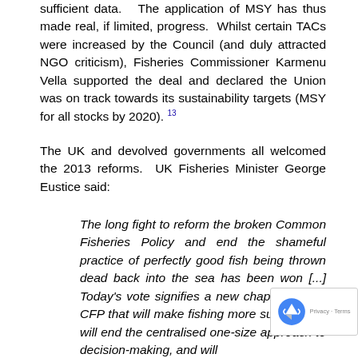sufficient data. The application of MSY has thus made real, if limited, progress. Whilst certain TACs were increased by the Council (and duly attracted NGO criticism), Fisheries Commissioner Karmenu Vella supported the deal and declared the Union was on track towards its sustainability targets (MSY for all stocks by 2020).13
The UK and devolved governments all welcomed the 2013 reforms. UK Fisheries Minister George Eustice said:
The long fight to reform the broken Common Fisheries Policy and end the shameful practice of perfectly good fish being thrown dead back into the sea has been won [...] Today's vote signifies a new chapter for the CFP that will make fishing more sustainable, will end the centralised one-size approach to decision-making, and will discards a thing of the past.14